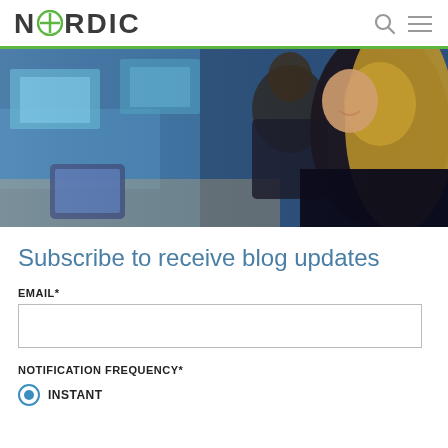NORDIC
[Figure (photo): Two professionals smiling, one using a tablet device, in an office with blue-lit screens in the background.]
Subscribe to receive blog updates
EMAIL*
NOTIFICATION FREQUENCY*
INSTANT